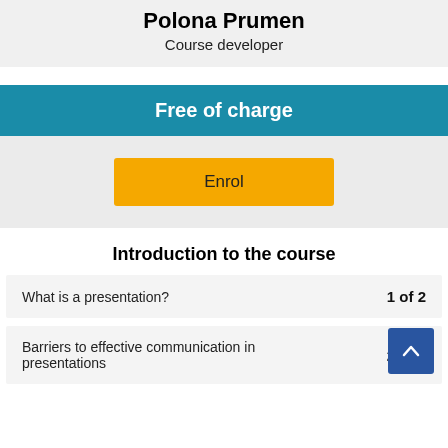Polona Prumen
Course developer
Free of charge
Enrol
Introduction to the course
What is a presentation? 1 of 2
Barriers to effective communication in presentations 2 of 2